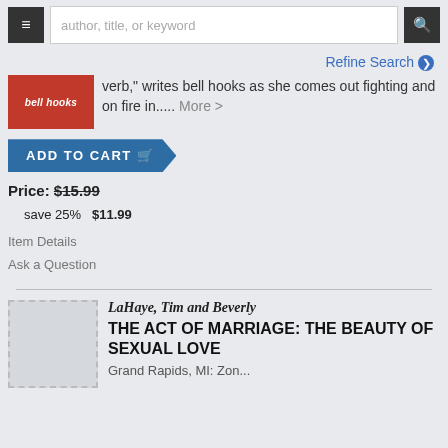[Figure (screenshot): Website navigation bar with hamburger menu, search box reading 'author, title, or keyword', and search button]
Refine Search ❯
verb," writes bell hooks as she comes out fighting and on fire in..... More >
[Figure (other): Add to Cart button with shopping cart icon]
Price: $15.99
  save 25%   $11.99
Item Details
Ask a Question
LaHaye, Tim and Beverly
THE ACT OF MARRIAGE: THE BEAUTY OF SEXUAL LOVE
Grand Rapids, MI: Zon...